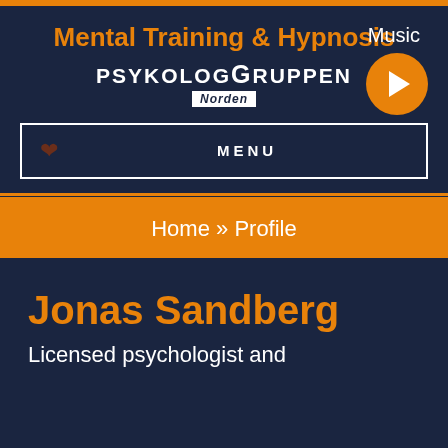Mental Training & Hypnosis
Music
[Figure (logo): PsykologGruppen Norden logo with play button]
MENU
Home » Profile
Jonas Sandberg
Licensed psychologist and